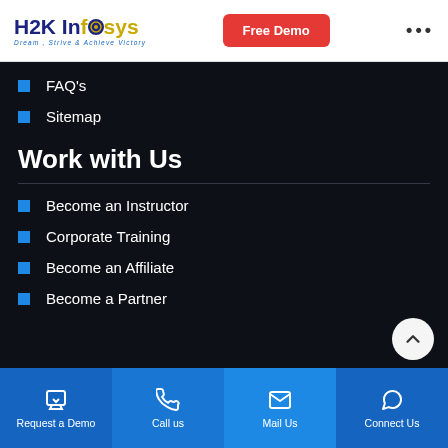H2K Infosys | Free Demo | Dream, Strive & Achieve Victory
FAQ's
Sitemap
Work with Us
Become an Instructor
Corporate Training
Become an Affiliate
Become a Partner
Request a Demo | Call us | Mail Us | Connect Us